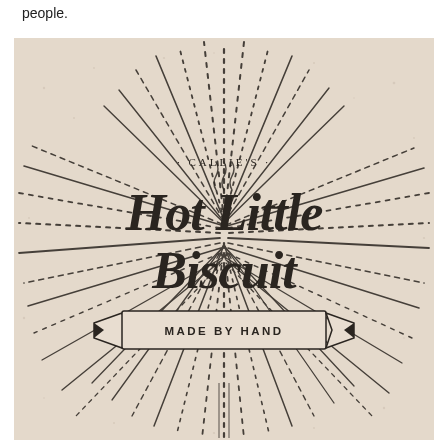people.
[Figure (photo): Callie's Hot Little Biscuit logo on a light beige background with radiating sunburst lines. The logo shows decorative script text reading 'Hot Little Biscuit' with '· CALLIE'S ·' above and a banner ribbon reading 'MADE BY HAND' below. Steam wisps appear above the main text.]